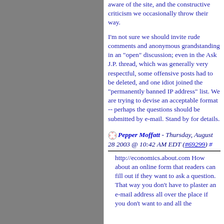aware of the site, and the constructive criticism we occasionally throw their way.
I'm not sure we should invite rude comments and anonymous grandstanding in an "open" discussion; even in the Ask J.P. thread, which was generally very respectful, some offensive posts had to be deleted, and one idiot joined the "permanently banned IP address" list. We are trying to devise an acceptable format -- perhaps the questions should be submitted by e-mail. Stand by for details.
Pepper Moffatt - Thursday, August 28 2003 @ 10:42 AM EDT (#69299) #
http://economics.about.com How about an online form that readers can fill out if they want to ask a question. That way you don't have to plaster an e-mail address all over the place if you don't want to and all the